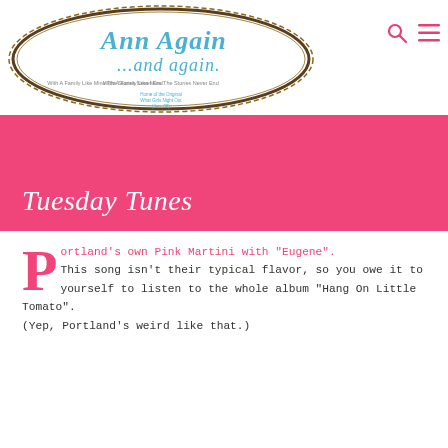[Figure (logo): Ann Again ...and again blog logo with decorative oval frame and cursive text. Tagline: 'With A Family Like Mine The Stories Never End'. Subtitle: 'Home of the Original What Girls Night Out (Jun. 08)']
Tuesday Tunes
Portland's own Pink Martini with "Eugene".
This song isn't their typical flavor, so you owe it to yourself to listen to the whole album "Hang On Little Tomato".
(Yep, Portland's weird like that.)